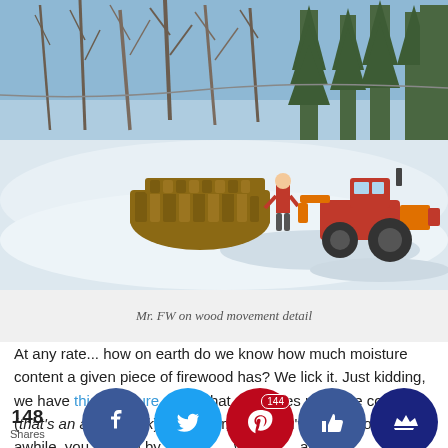[Figure (photo): Winter outdoor scene showing a person near a large pile of firewood logs with a red tractor/equipment on a snow-covered driveway or field, surrounded by bare deciduous and evergreen trees under a blue sky.]
Mr. FW on wood movement detail
At any rate... how on earth do we know how much moisture content a given piece of firewood has? We lick it. Just kidding, we have this moisture meter that measures moisture content (that's an affiliate link). However, once you've been doing it for awhile, you can tell by the wood and so when you cut it again per piece wood (the tech explained for us